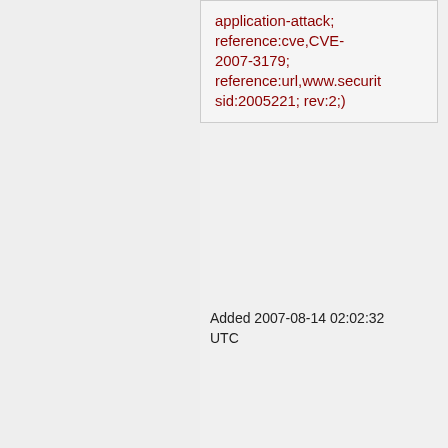application-attack; reference:cve,CVE-2007-3179; reference:url,www.securit sid:2005221; rev:2;)
Added 2007-08-14 02:02:32 UTC
alert tcp $EXTERNAL_NET any -> $HTTP_SERVERS $HTTP_PORTS (msg:"BLEEDING-EDGE WEB Particle Blogger SQL Injection Attempt -- archives.php month UPDATE";